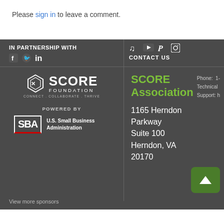Please sign in to leave a comment.
IN PARTNERSHIP WITH
CONTACT US
[Figure (logo): SCORE Foundation logo with hexagon symbol and tagline CONNECT. COLLABORATE. THRIVE.]
POWERED BY
[Figure (logo): U.S. Small Business Administration (SBA) logo]
SCORE Association
1165 Herndon Parkway Suite 100 Herndon, VA 20170
Phone: 1-
Technical Support: h
View more sponsors